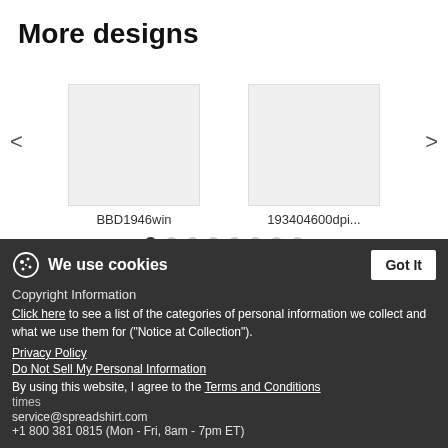More designs
[Figure (screenshot): Carousel showing product design thumbnails labeled BBD1946win and 193404600dpi... with left/right navigation arrows and pagination dots]
BBD1946win
193404600dpi...
Privacy
Legal Info
Tracking ∨
🌐 United States ∨
Copyright Information
Terms & Conditions
We use cookies
Click here to see a list of the categories of personal information we collect and what we use them for ("Notice at Collection").
Privacy Policy
Do Not Sell My Personal Information
By using this website, I agree to the Terms and Conditions
times
service@spreadshirt.com
+1 800 381 0815 (Mon - Fri, 8am - 7pm ET)